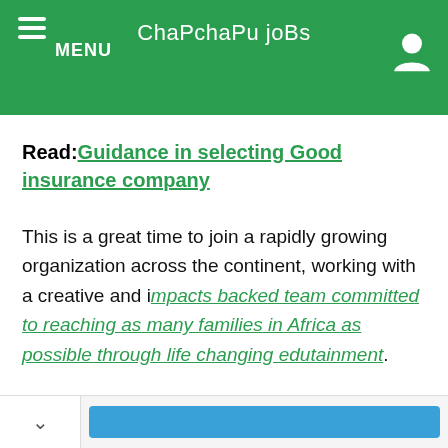ChaPchaPu joBs
Read: Guidance in selecting Good insurance company
This is a great time to join a rapidly growing organization across the continent, working with a creative and impacts backed team committed to reaching as many families in Africa as possible through life changing edutainment.